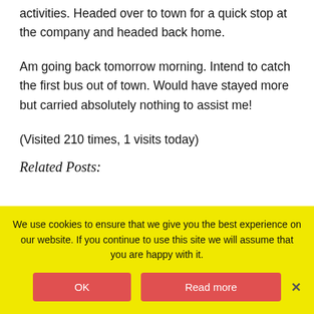activities. Headed over to town for a quick stop at the company and headed back home.
Am going back tomorrow morning. Intend to catch the first bus out of town. Would have stayed more but carried absolutely nothing to assist me!
(Visited 210 times, 1 visits today)
Related Posts:
[Figure (photo): Thumbnail image with blue pushpin icon on white background]
[Figure (photo): Thumbnail image showing two people near a vehicle]
We use cookies to ensure that we give you the best experience on our website. If you continue to use this site we will assume that you are happy with it.